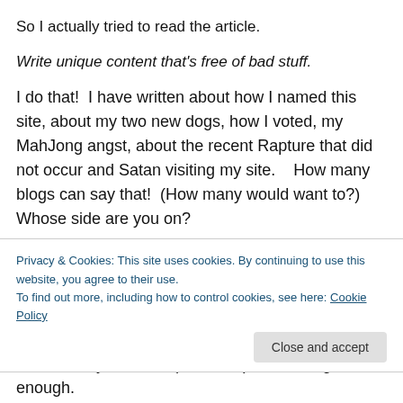So I actually tried to read the article.
Write unique content that's free of bad stuff.
I do that!  I have written about how I named this site, about my two new dogs, how I voted, my MahJong angst, about the recent Rapture that did not occur and Satan visiting my site.    How many blogs can say that!  (How many would want to?)  Whose side are you on?
Include images or other visuals.
They are talking about images, not that someone...
Privacy & Cookies: This site uses cookies. By continuing to use this website, you agree to their use. To find out more, including how to control cookies, see here: Cookie Policy
cow was my idea and photoshop.  Still not good enough.